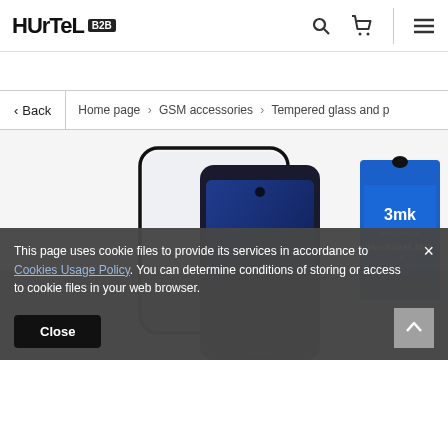HURTEL B2B
Home page > GSM accessories > Tempered glass and p
[Figure (photo): Product photo showing a 3mk HardGlass Max screen protector next to a smartphone, with the blue retail packaging on the right showing '3mk HardGlass Max' branding.]
This page uses cookie files to provide its services in accordance to Cookies Usage Policy. You can determine conditions of storing or access to cookie files in your web browser.
Close